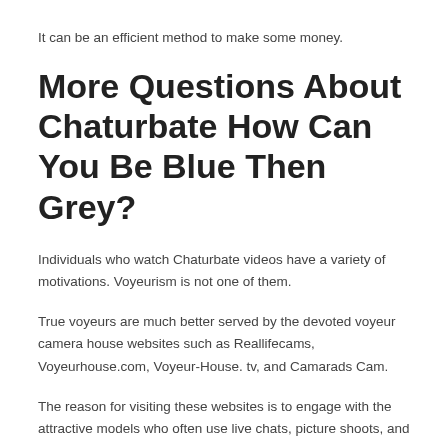It can be an efficient method to make some money.
More Questions About Chaturbate How Can You Be Blue Then Grey?
Individuals who watch Chaturbate videos have a variety of motivations. Voyeurism is not one of them.
True voyeurs are much better served by the devoted voyeur camera house websites such as Reallifecams, Voyeurhouse.com, Voyeur-House. tv, and Camarads Cam.
The reason for visiting these websites is to engage with the attractive models who often use live chats, picture shoots, and even sex.
The Internet of Things (IoT) is a term utilized to describe the next